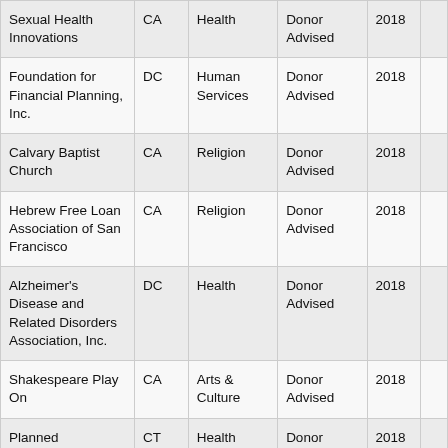| Sexual Health Innovations | CA | Health | Donor Advised | 2018 |  |
| Foundation for Financial Planning, Inc. | DC | Human Services | Donor Advised | 2018 |  |
| Calvary Baptist Church | CA | Religion | Donor Advised | 2018 |  |
| Hebrew Free Loan Association of San Francisco | CA | Religion | Donor Advised | 2018 |  |
| Alzheimer's Disease and Related Disorders Association, Inc. | DC | Health | Donor Advised | 2018 |  |
| Shakespeare Play On | CA | Arts & Culture | Donor Advised | 2018 |  |
| Planned Parenthood | CT | Health | Donor Advised | 2018 |  |